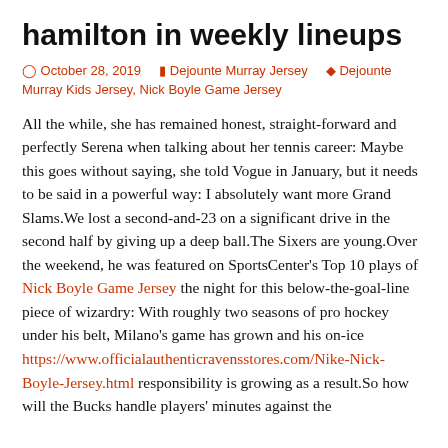hamilton in weekly lineups
October 28, 2019   Dejounte Murray Jersey   Dejounte Murray Kids Jersey, Nick Boyle Game Jersey
All the while, she has remained honest, straight-forward and perfectly Serena when talking about her tennis career: Maybe this goes without saying, she told Vogue in January, but it needs to be said in a powerful way: I absolutely want more Grand Slams.We lost a second-and-23 on a significant drive in the second half by giving up a deep ball.The Sixers are young.Over the weekend, he was featured on SportsCenter's Top 10 plays of Nick Boyle Game Jersey the night for this below-the-goal-line piece of wizardry: With roughly two seasons of pro hockey under his belt, Milano's game has grown and his on-ice https://www.officialauthenticravensstores.com/Nike-Nick-Boyle-Jersey.html responsibility is growing as a result.So how will the Bucks handle players' minutes against the